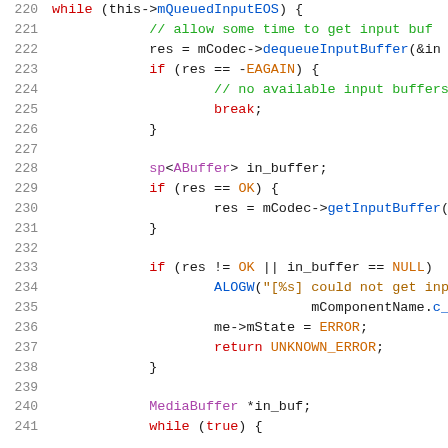Code listing lines 220-241, C++ source code with syntax highlighting showing media codec input buffer handling logic